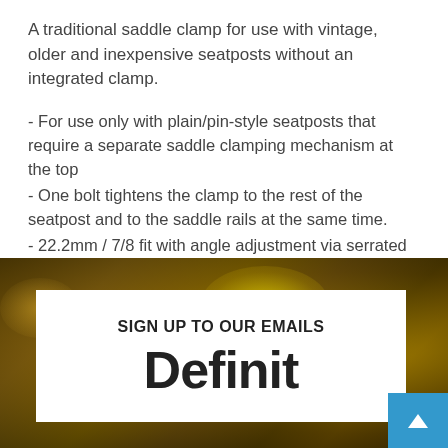A traditional saddle clamp for use with vintage, older and inexpensive seatposts without an integrated clamp.
- For use only with plain/pin-style seatposts that require a separate saddle clamping mechanism at the top
- One bolt tightens the clamp to the rest of the seatpost and to the saddle rails at the same time.
- 22.2mm / 7/8 fit with angle adjustment via serrated washers
- Steel construction with ED black finish
[Figure (photo): Golden/amber background photo with bokeh light effects, showing trees or foliage. Contains a white signup box overlay with 'SIGN UP TO OUR EMAILS' text and partial large bold text below, plus a blue scroll-up button in the bottom right corner.]